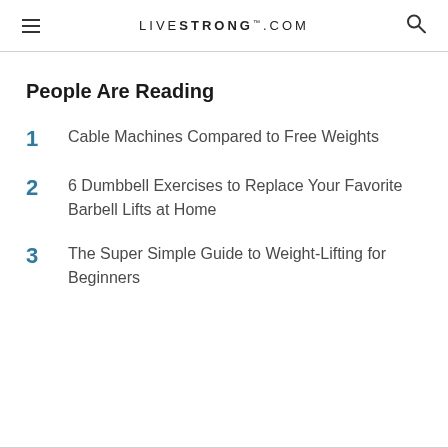LIVESTRONG.COM
People Are Reading
1 Cable Machines Compared to Free Weights
2 6 Dumbbell Exercises to Replace Your Favorite Barbell Lifts at Home
3 The Super Simple Guide to Weight-Lifting for Beginners